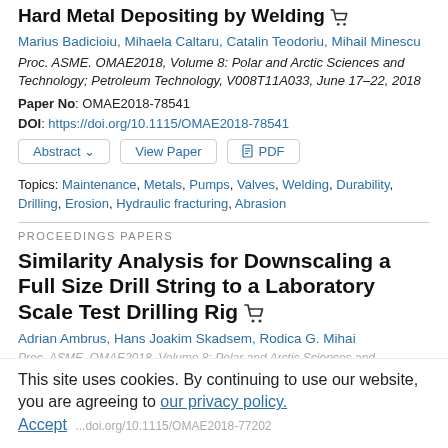Hard Metal Depositing by Welding
Marius Badicioiu, Mihaela Caltaru, Catalin Teodoriu, Mihail Minescu
Proc. ASME. OMAE2018, Volume 8: Polar and Arctic Sciences and Technology; Petroleum Technology, V008T11A033, June 17–22, 2018
Paper No: OMAE2018-78541
DOI: https://doi.org/10.1115/OMAE2018-78541
Topics: Maintenance, Metals, Pumps, Valves, Welding, Durability, Drilling, Erosion, Hydraulic fracturing, Abrasion
PROCEEDINGS PAPERS
Similarity Analysis for Downscaling a Full Size Drill String to a Laboratory Scale Test Drilling Rig
Adrian Ambrus, Hans Joakim Skadsem, Rodica G. Mihai
Proc. ASME. OMAE2018, Volume 8: Polar and Arctic Sciences and Technology; ..., 2018
This site uses cookies. By continuing to use our website, you are agreeing to our privacy policy. Accept
https://doi.org/10.1115/OMAE2018-77202